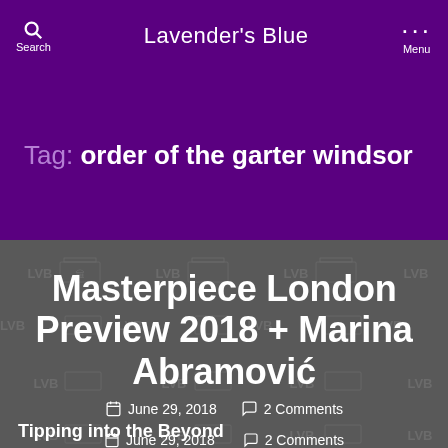Lavender's Blue
Tag: order of the garter windsor
Masterpiece London Preview 2018 + Marina Abramović
June 29, 2018  2 Comments
Tipping into the Beyond